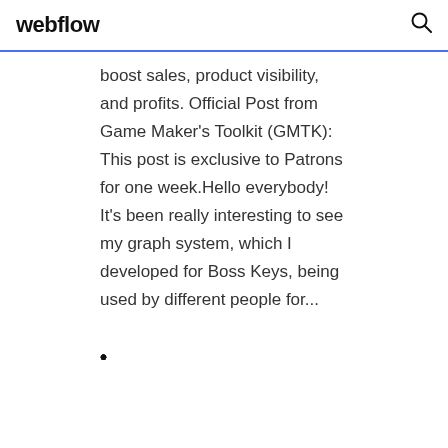webflow
boost sales, product visibility, and profits. Official Post from Game Maker's Toolkit (GMTK): This post is exclusive to Patrons for one week.Hello everybody! It's been really interesting to see my graph system, which I developed for Boss Keys, being used by different people for...